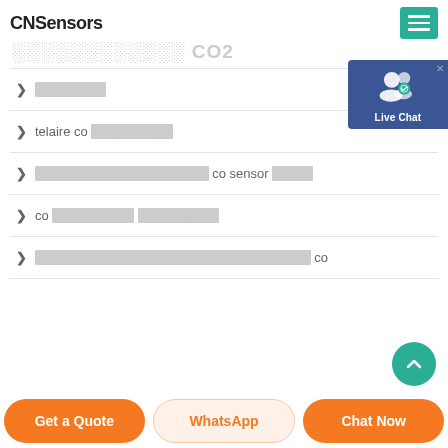CNSensors
░░░░░░░░░░░░ CO2
❯ ░░░░░░░
❯ telaire co ░░░░░░░░
❯ ░░░░░░░░░░░░░░░░░ co sensor ░░░░
❯ co ░░░░░░░░ ░░░░░░░░
❯ ░░░░░░░░░░░░░░░░░░░░░░░░░░░ co
Get a Quote | WhatsApp | Chat Now